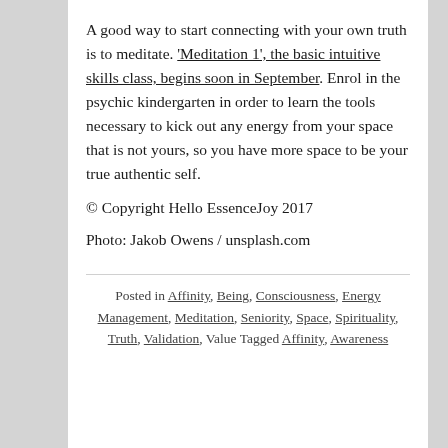A good way to start connecting with your own truth is to meditate. 'Meditation 1', the basic intuitive skills class, begins soon in September. Enrol in the psychic kindergarten in order to learn the tools necessary to kick out any energy from your space that is not yours, so you have more space to be your true authentic self.
© Copyright Hello EssenceJoy 2017
Photo: Jakob Owens / unsplash.com
Posted in Affinity, Being, Consciousness, Energy Management, Meditation, Seniority, Space, Spirituality, Truth, Validation, Value Tagged Affinity, Awareness